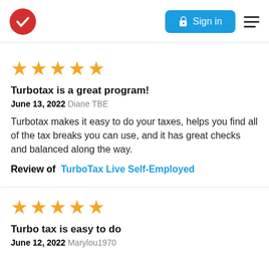Sign in
[Figure (other): 5 gold stars rating]
Turbotax is a great program!
June 13, 2022 Diane TBE
Turbotax makes it easy to do your taxes, helps you find all of the tax breaks you can use, and it has great checks and balanced along the way.
Review of  TurboTax Live Self-Employed
[Figure (other): 5 gold stars rating]
Turbo tax is easy to do
June 12, 2022 Marylou1970